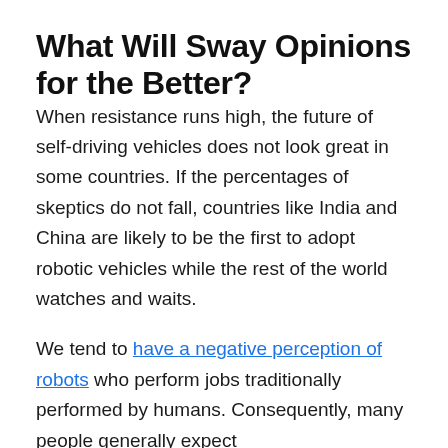What Will Sway Opinions for the Better?
When resistance runs high, the future of self-driving vehicles does not look great in some countries. If the percentages of skeptics do not fall, countries like India and China are likely to be the first to adopt robotic vehicles while the rest of the world watches and waits.
We tend to have a negative perception of robots who perform jobs traditionally performed by humans. Consequently, many people generally expect